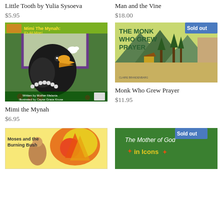Little Tooth by Yulia Sysoeva
$5.95
Man and the Vine
$18.00
[Figure (illustration): Book cover: Mimi the Mynah: It's All Mine! - shows a black mynah bird with yellow beak wearing a pearl necklace, illustrated children's book cover with green background]
Mimi the Mynah
$6.95
[Figure (illustration): Book cover: The Monk Who Grew Prayer - shows mountain landscape with trees and a small hut, with 'Sold out' badge]
Monk Who Grew Prayer
$11.95
[Figure (illustration): Book cover: Moses and the Burning Bush - partially visible, shows colorful illustrated cover]
[Figure (illustration): Book cover: The Mother of God in Icons - green background with colorful text, with 'Sold out' badge]